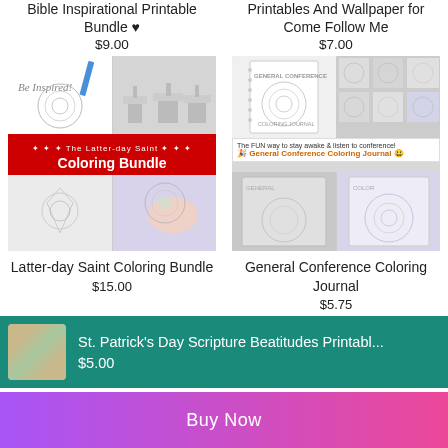Bible Inspirational Printable Bundle 🖤
$9.00
Printables And Wallpaper for Come Follow Me
$7.00
[Figure (photo): Latter-day Saint Coloring Bundle product image with red banner overlay]
[Figure (photo): General Conference Coloring Journal product image with white banner overlay]
Latter-day Saint Coloring Bundle
$15.00
General Conference Coloring Journal
$5.75
St. Patrick's Day Scripture Beatitudes Printabl...
$5.00
Buy Now